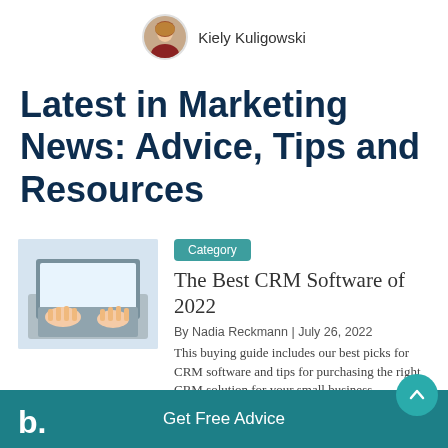Kiely Kuligowski
Latest in Marketing News: Advice, Tips and Resources
[Figure (photo): Thumbnail photo of hands typing on a laptop keyboard]
Category
The Best CRM Software of 2022
By Nadia Reckmann | July 26, 2022
This buying guide includes our best picks for CRM software and tips for purchasing the right CRM solution for your small business.
b. Get Free Advice